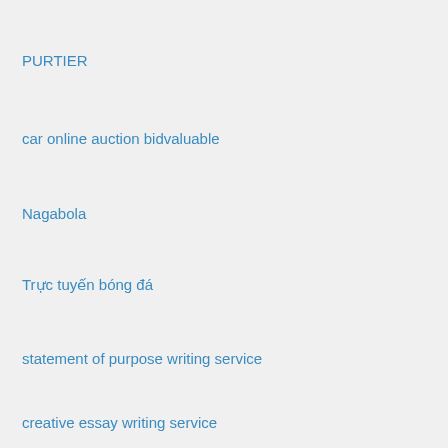PURTIER
car online auction bidvaluable
Nagabola
Trực tuyến bóng đá
statement of purpose writing service
creative essay writing service
Poker 88